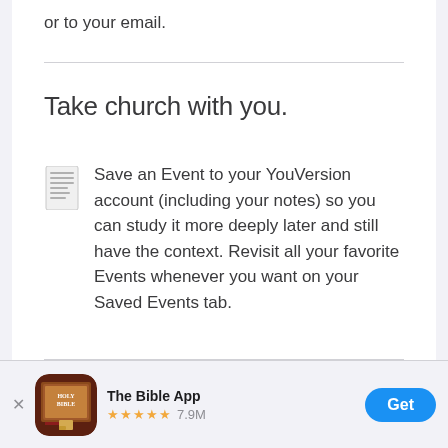or to your email.
Take church with you.
Save an Event to your YouVersion account (including your notes) so you can study it more deeply later and still have the context. Revisit all your favorite Events whenever you want on your Saved Events tab.
[Figure (screenshot): App Store banner showing The Bible App with Holy Bible icon, 5 star rating and 7.9M reviews, and a Get button]